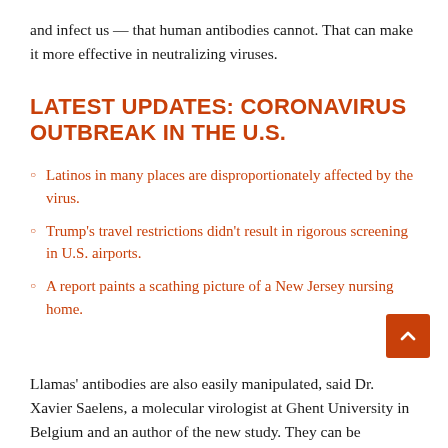and infect us — that human antibodies cannot. That can make it more effective in neutralizing viruses.
LATEST UPDATES: CORONAVIRUS OUTBREAK IN THE U.S.
Latinos in many places are disproportionately affected by the virus.
Trump's travel restrictions didn't result in rigorous screening in U.S. airports.
A report paints a scathing picture of a New Jersey nursing home.
Llamas' antibodies are also easily manipulated, said Dr. Xavier Saelens, a molecular virologist at Ghent University in Belgium and an author of the new study. They can be